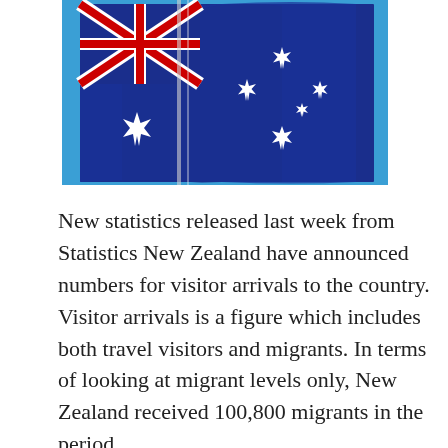[Figure (photo): Australian flag waving against a clear blue sky, shown on a flagpole. The flag displays the Union Jack in the upper left corner, Commonwealth Star below, and the Southern Cross constellation on the right.]
New statistics released last week from Statistics New Zealand have announced numbers for visitor arrivals to the country. Visitor arrivals is a figure which includes both travel visitors and migrants. In terms of looking at migrant levels only, New Zealand received 100,800 migrants in the period